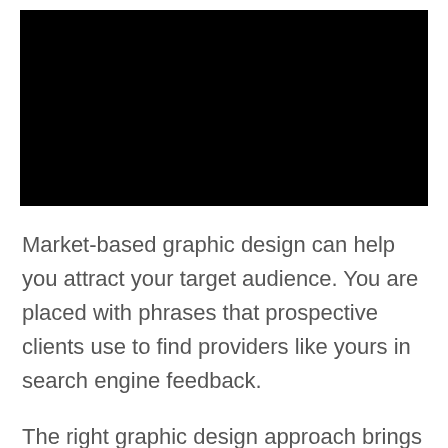[Figure (photo): Large black rectangular image at the top of the page]
Market-based graphic design can help you attract your target audience. You are placed with phrases that prospective clients use to find providers like yours in search engine feedback.
The right graphic design approach brings you excellent results in your organic and paid